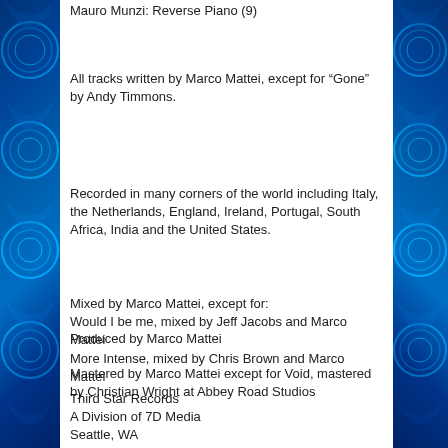Mauro Munzi: Reverse Piano (9)
All tracks written by Marco Mattei, except for “Gone” by Andy Timmons.
Recorded in many corners of the world including Italy, the Netherlands, England, Ireland, Portugal, South Africa, India and the United States.
Mixed by Marco Mattei, except for:
Would I be me, mixed by Jeff Jacobs and Marco Mattei
More Intense, mixed by Chris Brown and Marco Mattei
Mastered by Marco Mattei except for Void, mastered by Christian Wright at Abbey Road Studios
Produced by Marco Mattei
Third Star Records
A Division of 7D Media
Seattle, WA